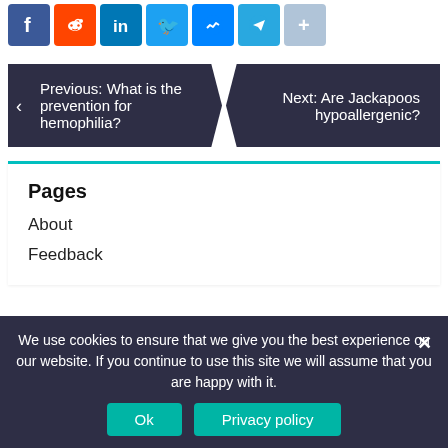[Figure (other): Social sharing icons: Facebook, Reddit, LinkedIn, Twitter, Messenger, Telegram, Share]
Previous: What is the prevention for hemophilia?
Next: Are Jackapoos hypoallergenic?
Pages
About
Feedback
We use cookies to ensure that we give you the best experience on our website. If you continue to use this site we will assume that you are happy with it.
Ok
Privacy policy